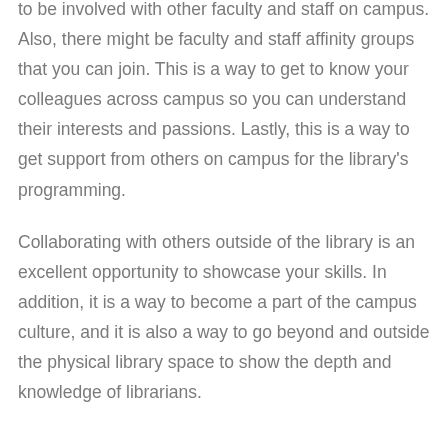to be involved with other faculty and staff on campus. Also, there might be faculty and staff affinity groups that you can join. This is a way to get to know your colleagues across campus so you can understand their interests and passions. Lastly, this is a way to get support from others on campus for the library's programming.
Collaborating with others outside of the library is an excellent opportunity to showcase your skills. In addition, it is a way to become a part of the campus culture, and it is also a way to go beyond and outside the physical library space to show the depth and knowledge of librarians.